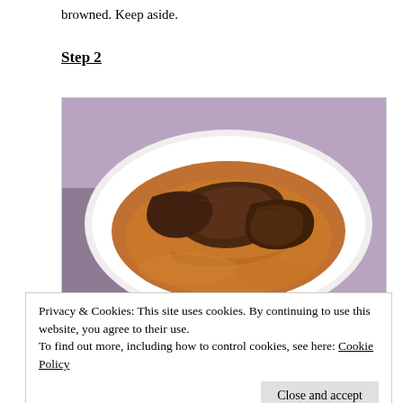browned. Keep aside.
Step 2
[Figure (photo): A white oval dish containing a braised or curried meat dish in a rich brown sauce, served on a purple-grey woven cloth background.]
Privacy & Cookies: This site uses cookies. By continuing to use this website, you agree to their use.
To find out more, including how to control cookies, see here: Cookie Policy
Close and accept
use it as you want to. Now the next part of the dish is